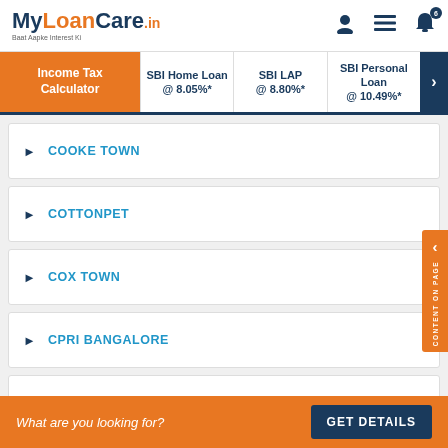[Figure (logo): MyLoanCare.in logo with tagline 'Baat Aapke Interest Ki']
Income Tax Calculator | SBI Home Loan @ 8.05%* | SBI LAP @ 8.80%* | SBI Personal Loan @ 10.49%*
COOKE TOWN
COTTONPET
COX TOWN
CPRI BANGALORE
CUNNINGHAM RD
CURENCY ADMINISTRATION CELL BANGALORE
What are you looking for? GET DETAILS